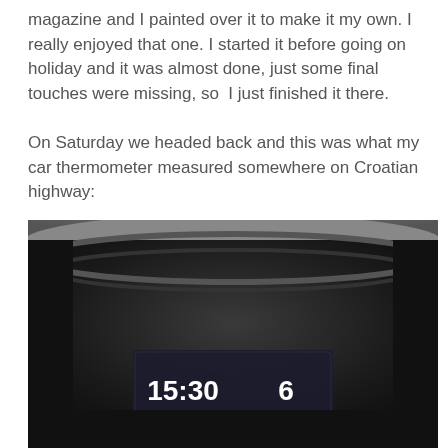magazine and I painted over it to make it my own. I really enjoyed that one. I started it before going on holiday and it was almost done, just some final touches were missing, so  I just finished it there.

On Saturday we headed back and this was what my car thermometer measured somewhere on Croatian highway:
[Figure (photo): Photo of a car dashboard display showing time 15:30 and temperature 6, taken on a Croatian highway. The display is set against a dark black curved dashboard interior.]